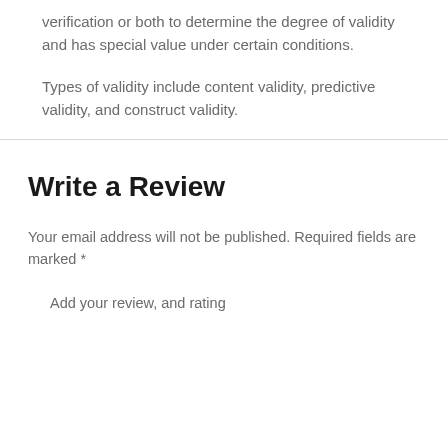verification or both to determine the degree of validity and has special value under certain conditions.
Types of validity include content validity, predictive validity, and construct validity.
Write a Review
Your email address will not be published. Required fields are marked *
Add your review, and rating